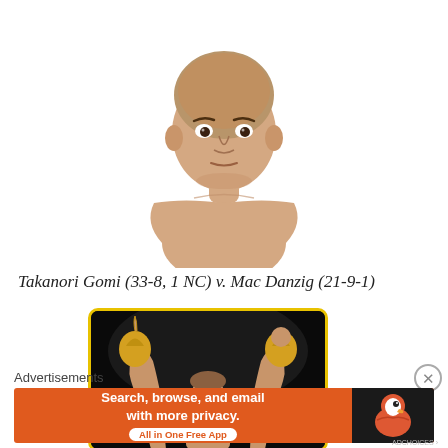[Figure (photo): Shirtless male MMA fighter (Takanori Gomi) shown from chest up against white background, with short hair and neutral expression]
Takanori Gomi (33-8, 1 NC) v. Mac Danzig (21-9-1)
[Figure (photo): MMA fighter with arms raised in victory pose wearing MMA gloves, against black background. Yellow text 'Kick' visible at bottom left. Image has yellow/gold rounded border.]
Advertisements
[Figure (infographic): Orange DuckDuckGo advertisement banner reading 'Search, browse, and email with more privacy. All in One Free App' with DuckDuckGo logo on dark right panel]